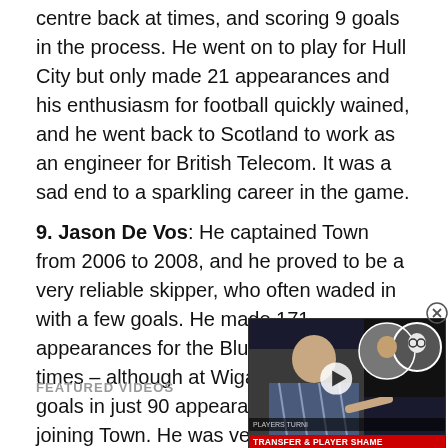centre back at times, and scoring 9 goals in the process. He went on to play for Hull City but only made 21 appearances and his enthusiasm for football quickly wained, and he went back to Scotland to work as an engineer for British Telecom. It was a sad end to a sparkling career in the game.
9. Jason De Vos: He captained Town from 2006 to 2008, and he proved to be a very reliable skipper, who often waded in with a few goals. He made 171 appearances for the Blues, scoring 10 times – although at Wigan he managed 15 goals in just 90 appearances before joining Town. He was very good in the air and solid on the ground, and played 49 times for Canada's national side. He was both intelligent and arti...
FEATURED VIDEOS
[Figure (screenshot): Video thumbnail showing a man pointing at camera with two overlaid circular portrait photos, labeled 'PLAYERS TURNI' and 'TRANSFER & PLAYER SHAME' in red banner at bottom. A play button is visible. A circular close button (X) appears top-right of the thumbnail.]